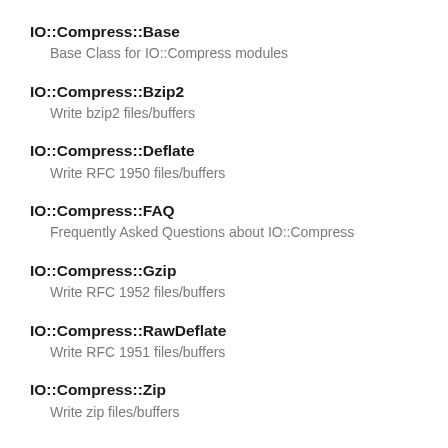IO::Compress::Base
  Base Class for IO::Compress modules
IO::Compress::Bzip2
  Write bzip2 files/buffers
IO::Compress::Deflate
  Write RFC 1950 files/buffers
IO::Compress::FAQ
  Frequently Asked Questions about IO::Compress
IO::Compress::Gzip
  Write RFC 1952 files/buffers
IO::Compress::RawDeflate
  Write RFC 1951 files/buffers
IO::Compress::Zip
  Write zip files/buffers